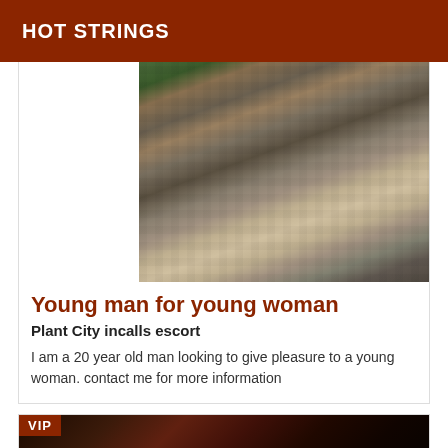HOT STRINGS
[Figure (photo): Pixelated/blurred photo of a person, face partially obscured, shown from shoulders up, outdoors background]
Young man for young woman
Plant City incalls escort
I am a 20 year old man looking to give pleasure to a young woman. contact me for more information
[Figure (photo): Partial dark VIP listing photo with watermark text 'ladyxena.com' mirrored, showing dark reddish tones]